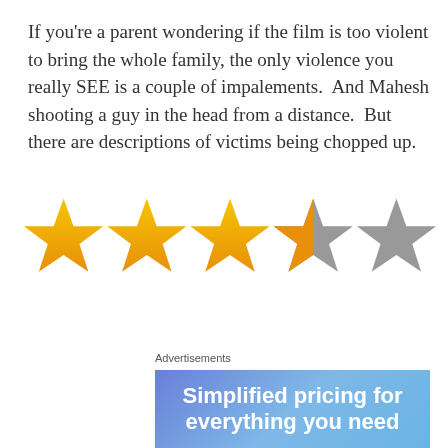If you're a parent wondering if the film is too violent to bring the whole family, the only violence you really SEE is a couple of impalements.  And Mahesh shooting a guy in the head from a distance.  But there are descriptions of victims being chopped up.
[Figure (other): Star rating graphic showing 3 filled gold stars, 1 half-gold half-grey star, and 1 grey star, representing approximately 3.5 out of 5 stars]
Advertisements
[Figure (other): Advertisement banner with blue/purple gradient background showing text 'Simplified pricing for everything you need']